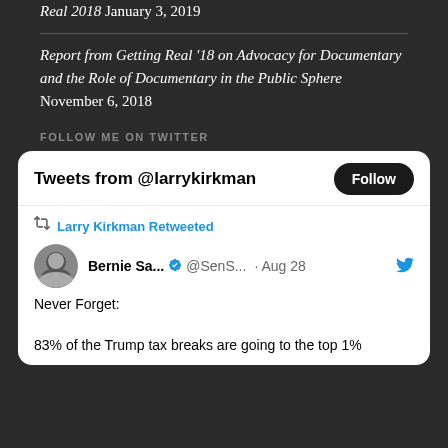Real 2018 January 3, 2019
Report from Getting Real '18 on Advocacy for Documentary and the Role of Documentary in the Public Sphere November 6, 2018
FOLLOW ME ON TWITTER
[Figure (screenshot): Twitter widget showing Tweets from @larrykirkman with a Follow button. Shows Larry Kirkman Retweeted a tweet from Bernie Sa... @SenS... Aug 28 saying 'Never Forget: 83% of the Trump tax breaks are going to the top 1%']